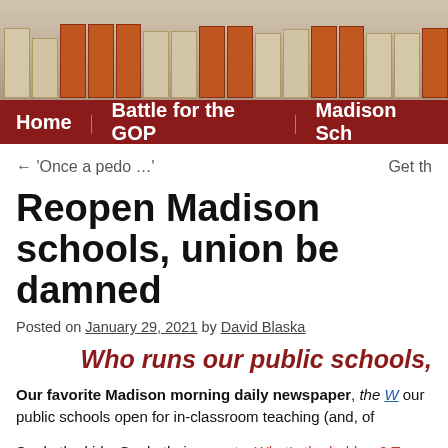[Figure (photo): Archive shelves with cardboard boxes and orange binders in the background]
Home   Battle for the GOP   Madison Sch…
← 'Once a pedo …'   Get th…
Reopen Madison schools, union be damned
Posted on January 29, 2021 by David Blaska
Who runs our public schools,
Our favorite Madison morning daily newspaper, the W… our public schools open for in-classroom teaching (and, of…
So do the kids. So do their parents. What's the hold-up? T…